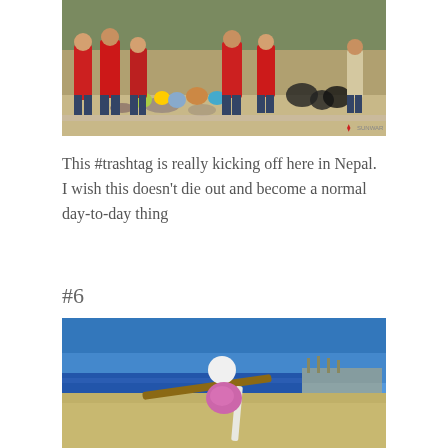[Figure (photo): Group of volunteers in red shirts standing on a beach/riverside area with collected bags of trash and garbage around them. Sandy ground with rocks visible.]
This #trashtag is really kicking off here in Nepal. I wish this doesn't die out and become a normal day-to-day thing
#6
[Figure (photo): A figure made of collected trash items arranged like a snowman on a sandy beach, with sticks as arms, a white round head piece, and a purple/pink body piece. Blue ocean and sky visible in background.]